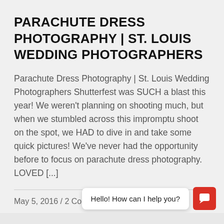PARACHUTE DRESS PHOTOGRAPHY | ST. LOUIS WEDDING PHOTOGRAPHERS
Parachute Dress Photography | St. Louis Wedding Photographers Shutterfest was SUCH a blast this year!  We weren't planning on shooting much, but when we stumbled across this impromptu shoot on the spot, we HAD to dive in and take some quick pictures!  We've never had the opportunity before to focus on parachute dress photography.  LOVED [...]
May 5, 2016 / 2 Comments
[Figure (screenshot): Chat widget overlay with message bubble saying 'Hello! How can I help you?' and a red chat icon button]